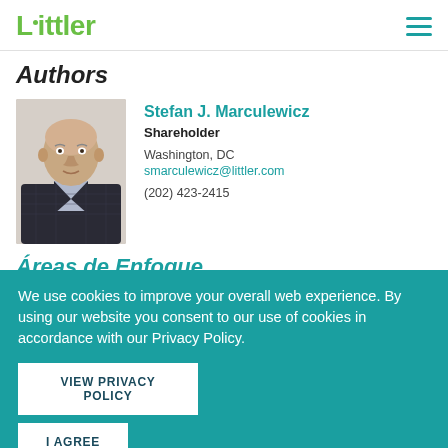Littler
Authors
[Figure (photo): Headshot photo of Stefan J. Marculewicz, a bald man in a dark plaid suit]
Stefan J. Marculewicz
Shareholder
Washington, DC
smarculewicz@littler.com
(202) 423-2415
Áreas de Enfoque
We use cookies to improve your overall web experience. By using our website you consent to our use of cookies in accordance with our Privacy Policy.
VIEW PRIVACY POLICY
I AGREE